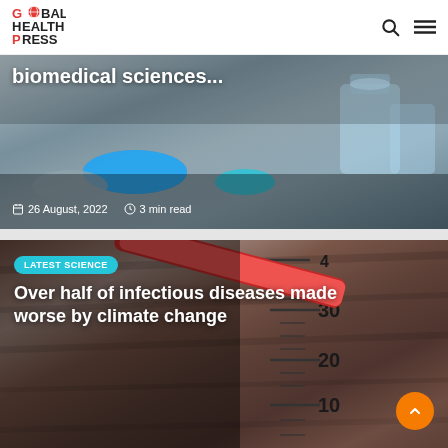Global Health Press
[Figure (photo): Article card showing pills and medicine bottles on a surface with text overlay: 'biomedical sciences...' dated 26 August, 2022, 3 min read]
[Figure (photo): Article card showing a close-up wooden thermometer with red mercury line and temperature scale markings (10, 20, 30, 40). Tag: LATEST SCIENCE. Title: Over half of infectious diseases made worse by climate change]